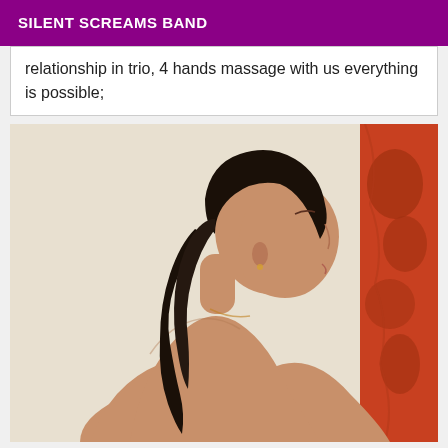SILENT SCREAMS BAND
relationship in trio, 4 hands massage with us everything is possible;
[Figure (photo): A woman with dark hair in a ponytail, photographed from behind, looking upward to the right. She appears to be bare-shouldered. Background includes a light wall and an orange/red decorative panel on the right side.]